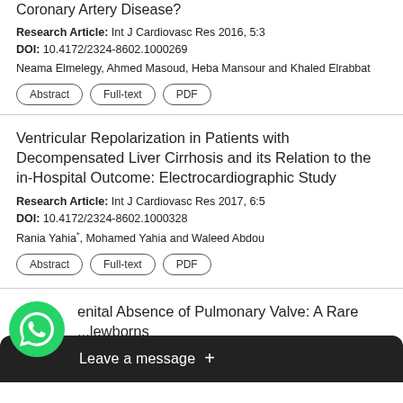Coronary Artery Disease?
Research Article: Int J Cardiovasc Res 2016, 5:3
DOI: 10.4172/2324-8602.1000269
Neama Elmelegy, Ahmed Masoud, Heba Mansour and Khaled Elrabbat
Abstract | Full-text | PDF
Ventricular Repolarization in Patients with Decompensated Liver Cirrhosis and its Relation to the in-Hospital Outcome: Electrocardiographic Study
Research Article: Int J Cardiovasc Res 2017, 6:5
DOI: 10.4172/2324-8602.1000328
Rania Yahia*, Mohamed Yahia and Waleed Abdou
Abstract | Full-text | PDF
enital Absence of Pulmonary Valve: A Rare ...lewborns
Case ... 6:5 5